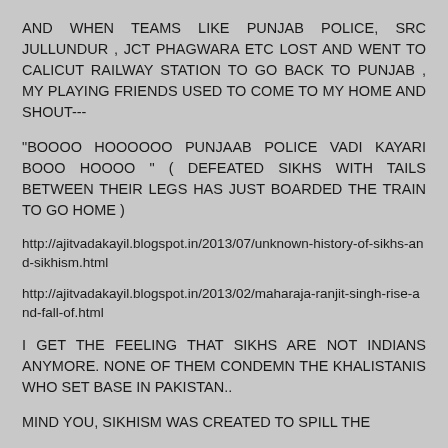AND WHEN TEAMS LIKE PUNJAB POLICE, SRC JULLUNDUR , JCT PHAGWARA ETC LOST AND WENT TO CALICUT RAILWAY STATION TO GO BACK TO PUNJAB , MY PLAYING FRIENDS USED TO COME TO MY HOME AND SHOUT---
"BOOOO HOOOOOO PUNJAAB POLICE VADI KAYARI BOOO HOOOO " ( DEFEATED SIKHS WITH TAILS BETWEEN THEIR LEGS HAS JUST BOARDED THE TRAIN TO GO HOME )
http://ajitvadakayil.blogspot.in/2013/07/unknown-history-of-sikhs-and-sikhism.html
http://ajitvadakayil.blogspot.in/2013/02/maharaja-ranjit-singh-rise-and-fall-of.html
I GET THE FEELING THAT SIKHS ARE NOT INDIANS ANYMORE. NONE OF THEM CONDEMN THE KHALISTANIS WHO SET BASE IN PAKISTAN..
MIND YOU, SIKHISM WAS CREATED TO SPILL THE